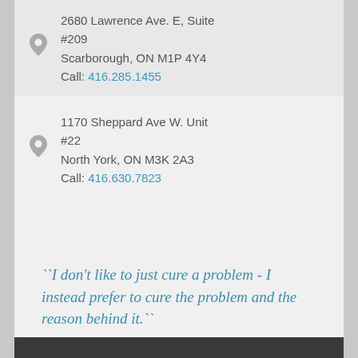2680 Lawrence Ave. E, Suite #209
Scarborough, ON M1P 4Y4
Call: 416.285.1455
1170 Sheppard Ave W. Unit #22
North York, ON M3K 2A3
Call: 416.630.7823
``I don't like to just cure a problem - I instead prefer to cure the problem and the reason behind it.``